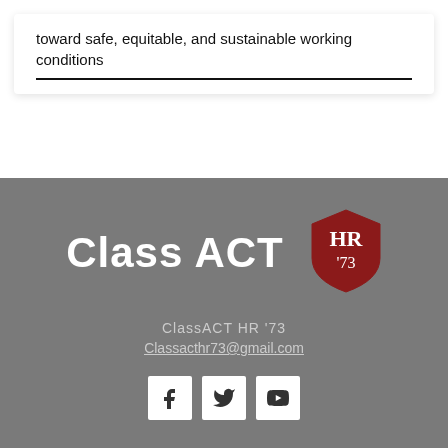... science class artists organizing for action toward safe, equitable, and sustainable working conditions
[Figure (logo): ClassACT text logo in white with Harvard HR shield logo ('73) in crimson red on grey background]
ClassACT HR '73
Classacthr73@gmail.com
[Figure (other): Three social media icons: Facebook, Twitter, YouTube on white square backgrounds]